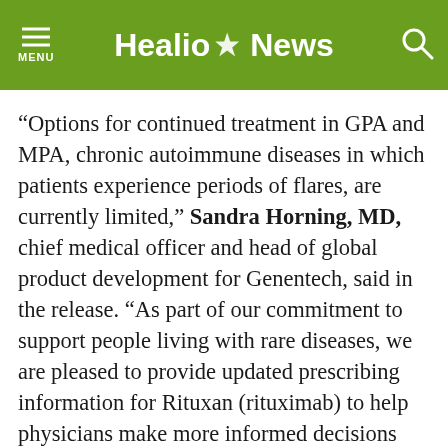Healio News
“Options for continued treatment in GPA and MPA, chronic autoimmune diseases in which patients experience periods of flares, are currently limited,” Sandra Horning, MD, chief medical officer and head of global product development for Genentech, said in the release. “As part of our commitment to support people living with rare diseases, we are pleased to provide updated prescribing information for Rituxan (rituximab) to help physicians make more informed decisions about therapeutic options